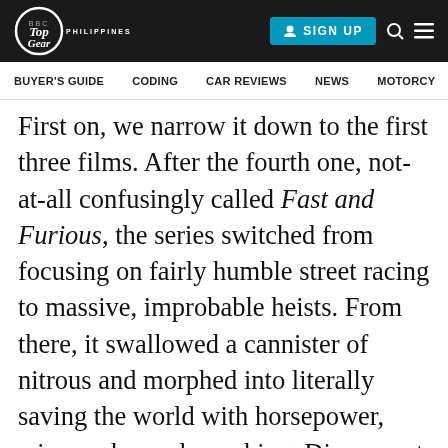Top Gear Philippines | SIGN UP
BUYER'S GUIDE   CODING   CAR REVIEWS   NEWS   MOTORCY
First on, we narrow it down to the first three films. After the fourth one, not-at-all confusingly called Fast and Furious, the series switched from focusing on fairly humble street racing to massive, improbable heists. From there, it swallowed a cannister of nitrous and morphed into literally saving the world with horsepower, wisecracks, and punching. Disconnect your brain at the door to the cinema, and you'll have a blast. But they're not about cars anymore.